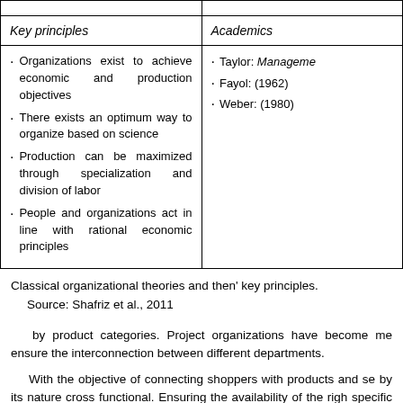| Key principles | Academics |
| --- | --- |
| · Organizations exist to achieve economic and production objectives
· There exists an optimum way to organize based on science
· Production can be maximized through specialization and division of labor
· People and organizations act in line with rational economic principles | · Taylor: Management...
· Fayol: (1962)
· Weber: (1980) |
Classical organizational theories and then' key principles.
Source: Shafriz et al., 2011
by product categories. Project organizations have become me ensure the interconnection between different departments.
With the objective of connecting shoppers with products and se by its nature cross functional. Ensuring the availability of the righ specific consumption occasion for a defined target group at the activated to draw consumers' attention goes across several funct sales and logistics, and ranges from defining the optimum offe